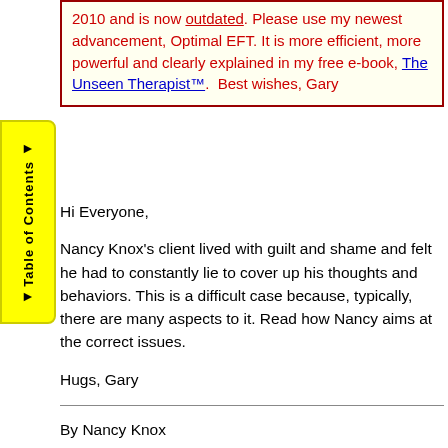2010 and is now outdated. Please use my newest advancement, Optimal EFT. It is more efficient, more powerful and clearly explained in my free e-book, The Unseen Therapist™.  Best wishes, Gary
Hi Everyone,
Nancy Knox's client lived with guilt and shame and felt he had to constantly lie to cover up his thoughts and behaviors. This is a difficult case because, typically, there are many aspects to it. Read how Nancy aims at the correct issues.
Hugs, Gary
By Nancy Knox
Gary,